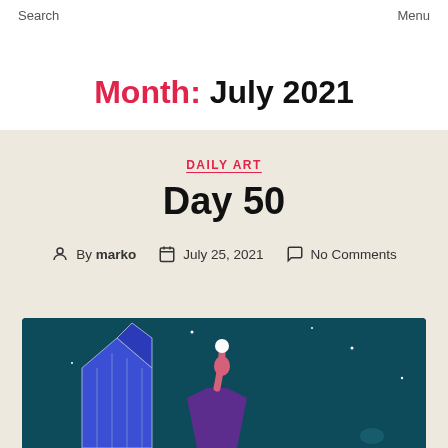Search    Menu
Month: July 2021
DAILY ART
Day 50
By marko   July 25, 2021   No Comments
[Figure (illustration): Digital illustration on dark teal background showing a purple-robed figure with a pink arm reaching upward toward a white circle/orb, with geometric blue shapes (building/crystal) to the left and stars scattered in the background.]